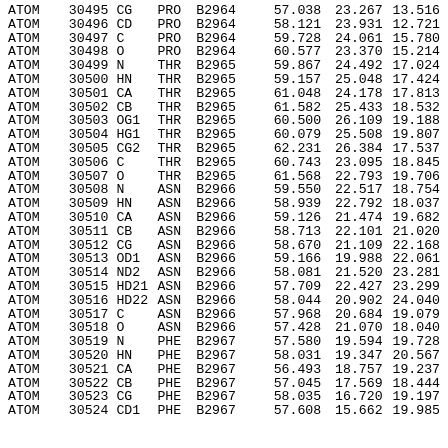| type | serial | atom | res | chain_res |  | x | y | z |
| --- | --- | --- | --- | --- | --- | --- | --- | --- |
| ATOM | 30495 | CG | PRO | B2964 |  | 57.038 | 23.267 | 13.516 |
| ATOM | 30496 | CD | PRO | B2964 |  | 58.121 | 23.931 | 12.721 |
| ATOM | 30497 | C | PRO | B2964 |  | 59.728 | 24.061 | 15.780 |
| ATOM | 30498 | O | PRO | B2964 |  | 60.577 | 23.370 | 15.214 |
| ATOM | 30499 | N | THR | B2965 |  | 59.867 | 24.492 | 17.024 |
| ATOM | 30500 | HN | THR | B2965 |  | 59.157 | 25.048 | 17.424 |
| ATOM | 30501 | CA | THR | B2965 |  | 61.048 | 24.178 | 17.813 |
| ATOM | 30502 | CB | THR | B2965 |  | 61.582 | 25.433 | 18.532 |
| ATOM | 30503 | OG1 | THR | B2965 |  | 60.500 | 26.109 | 19.188 |
| ATOM | 30504 | HG1 | THR | B2965 |  | 60.079 | 25.508 | 19.807 |
| ATOM | 30505 | CG2 | THR | B2965 |  | 62.231 | 26.384 | 17.537 |
| ATOM | 30506 | C | THR | B2965 |  | 60.743 | 23.095 | 18.845 |
| ATOM | 30507 | O | THR | B2965 |  | 61.568 | 22.793 | 19.706 |
| ATOM | 30508 | N | ASN | B2966 |  | 59.550 | 22.517 | 18.754 |
| ATOM | 30509 | HN | ASN | B2966 |  | 58.939 | 22.792 | 18.037 |
| ATOM | 30510 | CA | ASN | B2966 |  | 59.126 | 21.474 | 19.682 |
| ATOM | 30511 | CB | ASN | B2966 |  | 58.713 | 22.101 | 21.020 |
| ATOM | 30512 | CG | ASN | B2966 |  | 58.670 | 21.109 | 22.168 |
| ATOM | 30513 | OD1 | ASN | B2966 |  | 59.166 | 19.988 | 22.061 |
| ATOM | 30514 | ND2 | ASN | B2966 |  | 58.081 | 21.520 | 23.281 |
| ATOM | 30515 | HD21 | ASN | B2966 |  | 57.709 | 22.427 | 23.299 |
| ATOM | 30516 | HD22 | ASN | B2966 |  | 58.044 | 20.902 | 24.040 |
| ATOM | 30517 | C | ASN | B2966 |  | 57.968 | 20.684 | 19.079 |
| ATOM | 30518 | O | ASN | B2966 |  | 57.428 | 21.070 | 18.040 |
| ATOM | 30519 | N | PHE | B2967 |  | 57.580 | 19.594 | 19.728 |
| ATOM | 30520 | HN | PHE | B2967 |  | 58.031 | 19.347 | 20.567 |
| ATOM | 30521 | CA | PHE | B2967 |  | 56.493 | 18.757 | 19.237 |
| ATOM | 30522 | CB | PHE | B2967 |  | 57.045 | 17.569 | 18.444 |
| ATOM | 30523 | CG | PHE | B2967 |  | 58.035 | 16.720 | 19.197 |
| ATOM | 30524 | CD1 | PHE | B2967 |  | 57.608 | 15.662 | 19.985 |